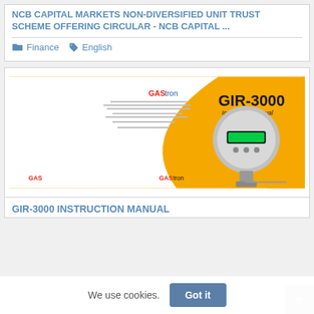NCB CAPITAL MARKETS NON-DIVERSIFIED UNIT TRUST SCHEME OFFERING CIRCULAR - NCB CAPITAL ...
Finance  English
[Figure (photo): Cover page of GIR-3000 Instruction Manual by Gastron, showing an orange and white design with a gas detector device image and Gastron logo.]
GIR-3000 INSTRUCTION MANUAL